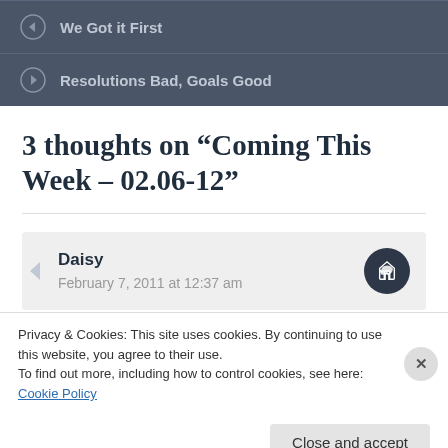We Got it First
Resolutions Bad, Goals Good
3 thoughts on “Coming This Week – 02.06-12”
Daisy
February 7, 2011 at 12:37 am
Privacy & Cookies: This site uses cookies. By continuing to use this website, you agree to their use.
To find out more, including how to control cookies, see here: Cookie Policy
Close and accept